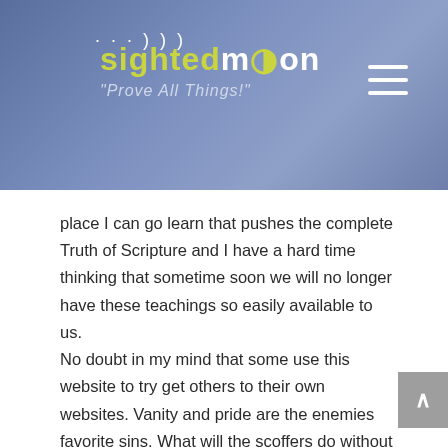sightedmoon "Prove All Things!"
place I can go learn that pushes the complete Truth of Scripture and I have a hard time thinking that sometime soon we will no longer have these teachings so easily available to us.
No doubt in my mind that some use this website to try get others to their own websites. Vanity and pride are the enemies favorite sins. What will the scoffers do without you Mr. Dumond lol? You can take strength from the people you have reached. I personally have proven these things (Yehovah has proven these things to me) in ways that few would believe by following the patterns